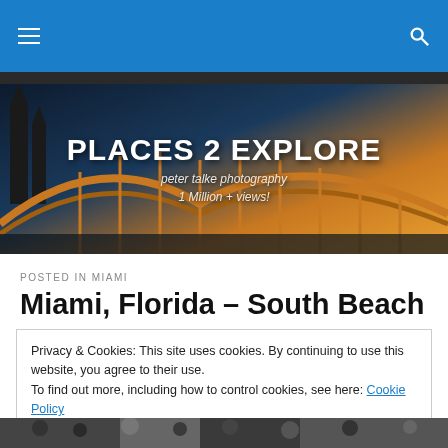[Figure (screenshot): Blue navigation bar with hamburger menu icon on left and search icon on right]
[Figure (photo): Hero banner image showing 'PLACES 2 EXPLORE' title over a night photo of a bridge and cathedral with warm golden lights, subtitle reads 'peter talke photography 1 Million + views!']
POSTED IN MIAMI
Miami, Florida – South Beach
Privacy & Cookies: This site uses cookies. By continuing to use this website, you agree to their use.
To find out more, including how to control cookies, see here: Cookie Policy
Close and accept
[Figure (photo): Partial black and white photo at bottom of page]